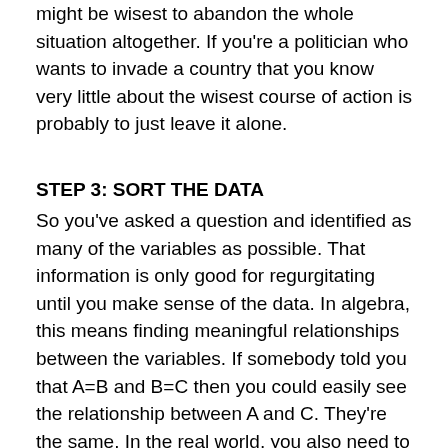might be wisest to abandon the whole situation altogether. If you're a politician who wants to invade a country that you know very little about the wisest course of action is probably to just leave it alone.
STEP 3: SORT THE DATA
So you've asked a question and identified as many of the variables as possible. That information is only good for regurgitating until you make sense of the data. In algebra, this means finding meaningful relationships between the variables. If somebody told you that A=B and B=C then you could easily see the relationship between A and C. They're the same. In the real world, you also need to sort data by finding meaningful relationships between variables. But don't worry. It's not always that cryptic.